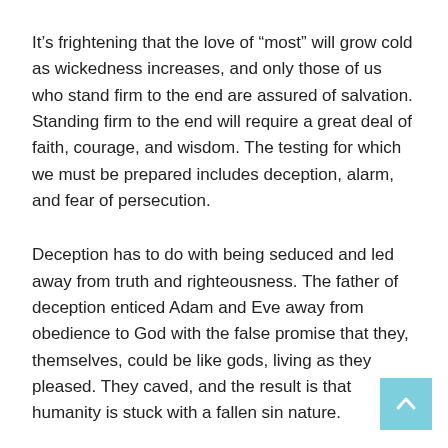It's frightening that the love of “most” will grow cold as wickedness increases, and only those of us who stand firm to the end are assured of salvation. Standing firm to the end will require a great deal of faith, courage, and wisdom. The testing for which we must be prepared includes deception, alarm, and fear of persecution.
Deception has to do with being seduced and led away from truth and righteousness. The father of deception enticed Adam and Eve away from obedience to God with the false promise that they, themselves, could be like gods, living as they pleased. They caved, and the result is that humanity is stuck with a fallen sin nature.
In other words, we are born with a natural ego-centric perspective. Our sinful pride and ungodly desire to serve